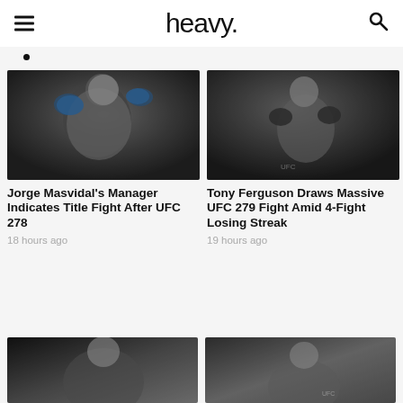heavy.
[Figure (photo): Jorge Masvidal UFC fighter in fighting stance]
Jorge Masvidal's Manager Indicates Title Fight After UFC 278
18 hours ago
[Figure (photo): Tony Ferguson UFC fighter in fighting stance]
Tony Ferguson Draws Massive UFC 279 Fight Amid 4-Fight Losing Streak
19 hours ago
[Figure (photo): UFC fighter partial image bottom left]
[Figure (photo): UFC fighter partial image bottom right]